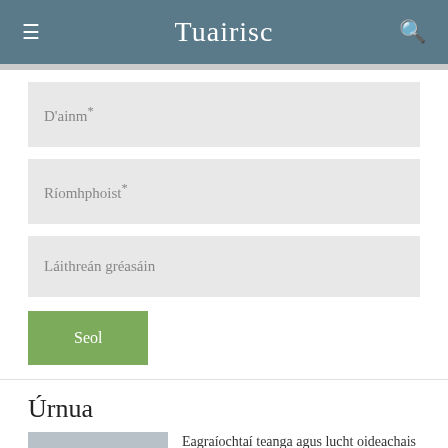Tuairisc
D'ainm*
Ríomhphoist*
Láithreán gréasáin
Seol
Úrnua
Eagraíochtaí teanga agus lucht oideachais ag impí ar an Aire dul siar ar